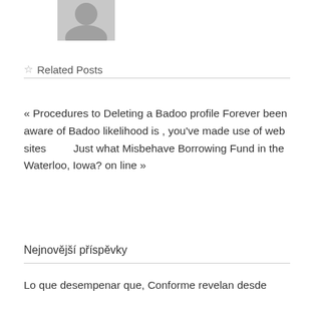[Figure (photo): Greyscale avatar/profile placeholder image]
☆ Related Posts
« Procedures to Deleting a Badoo profile Forever been aware of Badoo likelihood is , you've made use of web sites        Just what Misbehave Borrowing Fund in the Waterloo, Iowa? on line »
Nejnovější příspěvky
Lo que desempenar que, Conforme revelan desde